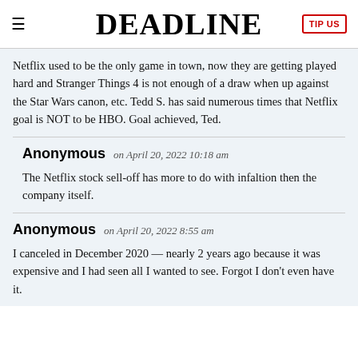DEADLINE
Netflix used to be the only game in town, now they are getting played hard and Stranger Things 4 is not enough of a draw when up against the Star Wars canon, etc. Tedd S. has said numerous times that Netflix goal is NOT to be HBO. Goal achieved, Ted.
Anonymous on April 20, 2022 10:18 am
The Netflix stock sell-off has more to do with infaltion then the company itself.
Anonymous on April 20, 2022 8:55 am
I canceled in December 2020 — nearly 2 years ago because it was expensive and I had seen all I wanted to see. Forgot I don't even have it.